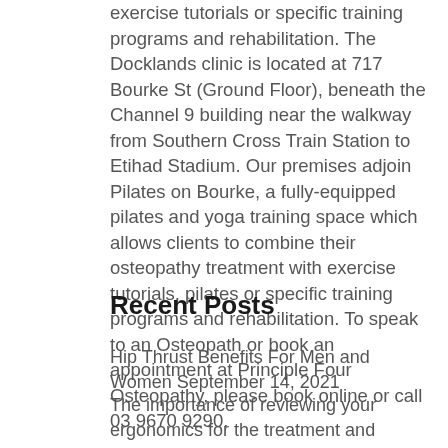exercise tutorials or specific training programs and rehabilitation. The Docklands clinic is located at 717 Bourke St (Ground Floor), beneath the Channel 9 building near the walkway from Southern Cross Train Station to Etihad Stadium. Our premises adjoin Pilates on Bourke, a fully-equipped pilates and yoga training space which allows clients to combine their osteopathy treatment with exercise tutorials, pilates or specific training programs and rehabilitation. To speak to an Osteopath or book an appointment at Principle Four Osteopathy, please book online or call 03 9670 9290.
Recent Posts
Hip Thrust Benefits For Men and Women September 14, 2021
The importance of reviewing your ergonomics for the treatment and management of back pain with your